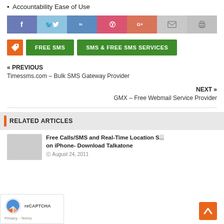Accountability Ease of Use
[Figure (infographic): Social sharing bar with icons: Facebook (blue-purple), Twitter (light blue), LinkedIn (medium blue), Pinterest (pink-red), Google+ (coral-red), Email (light gray), Print (light gray)]
[Figure (infographic): Tag and category buttons: orange tag icon, green FREE SMS button, green SMS & FREE SMS SERVICES button]
« PREVIOUS
Timessms.com – Bulk SMS Gateway Provider
NEXT »
GMX – Free Webmail Service Provider
RELATED ARTICLES
Free Calls/SMS and Real-Time Location S... on iPhone- Download Talkatone
August 24, 2011